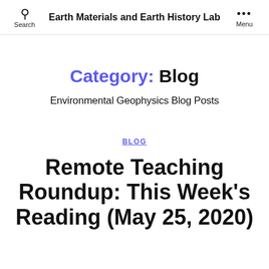Earth Materials and Earth History Lab
Category: Blog
Environmental Geophysics Blog Posts
BLOG
Remote Teaching Roundup: This Week's Reading (May 25, 2020)